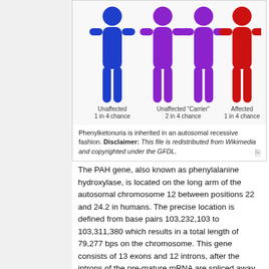[Figure (infographic): Autosomal recessive inheritance diagram showing four human figures: one blue (Unaffected, 1 in 4 chance), two purple (Unaffected 'Carrier', 2 in 4 chance), one red (Affected, 1 in 4 chance). Phenylketonuria inheritance pattern.]
Phenylketonuria is inherited in an autosomal recessive fashion. Disclaimer: This file is redistributed from Wikimedia and copyrighted under the GFDL.
The PAH gene, also known as phenylalanine hydroxylase, is located on the long arm of the autosomal chromosome 12 between positions 22 and 24.2 in humans. The precise location is defined from base pairs 103,232,103 to 103,311,380 which results in a total length of 79,277 bps on the chromosome. This gene consists of 13 exons and 12 introns, after the introns of the pre-mature mRNA are spliced away a length of only 2,681 bps is left on the transcript. This means only 3.38% of the